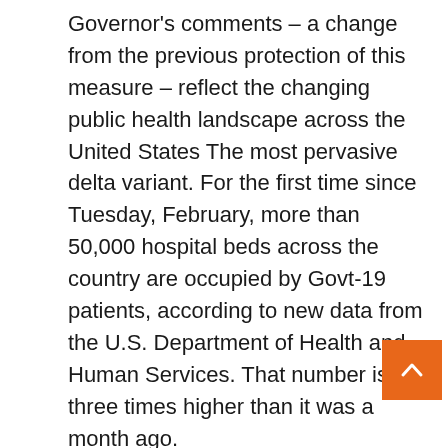Governor's comments – a change from the previous protection of this measure – reflect the changing public health landscape across the United States The most pervasive delta variant. For the first time since Tuesday, February, more than 50,000 hospital beds across the country are occupied by Govt-19 patients, according to new data from the U.S. Department of Health and Human Services. That number is three times higher than it was a month ago. Prohibition of mask commands, SB 590, First introduced in late March and eventually passed both chambers of the GOP-led General Assembly of Arkansas in April. It prohibits state and local authorities and agencies from ordering the mask c but exempts private businesses, health care facili correctional facilities and facilities operated by the